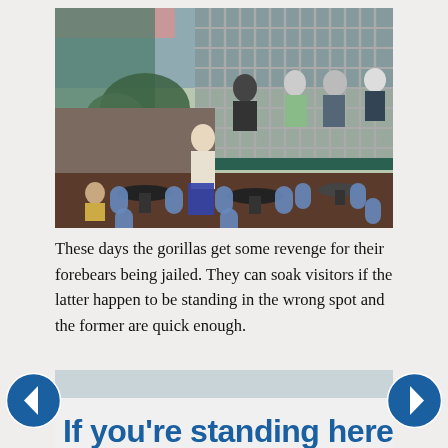[Figure (photo): Outdoor zoo dining area with blue chairs and round tables. In the background, people are seated behind a large metal grid enclosure. A young man in a white shirt and jeans stands in the foreground area.]
These days the gorillas get some revenge for their forebears being jailed. They can soak visitors if the latter happen to be standing in the wrong spot and the former are quick enough.
[Figure (photo): Partial view of a sign reading 'If you're standing here' in large blue text, with a blurred outdoor background.]